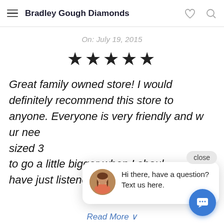Bradley Gough Diamonds
On: July 19, 2015
[Figure (other): Five black star rating icons]
Great family owned store! I would definitely recommend this store to anyone. Everyone is very friendly and w[...] ur nee[...] sized 3[...] to go a little bigger when I shoul[...] have just listened ...
[Figure (other): Chat popup overlay with woman avatar photo and message: Hi there, have a question? Text us here. Also shows close button and blue chat FAB button.]
Read More